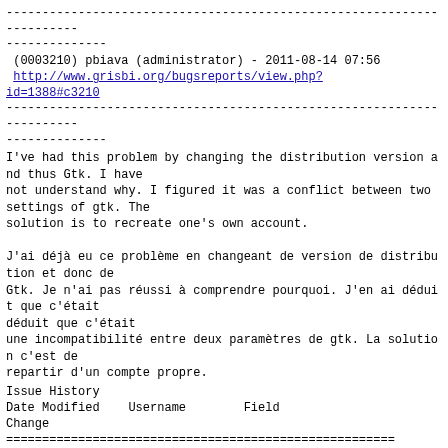----------------------------------------------------------------------
--------------
 (0003210) pbiava (administrator) - 2011-08-14 07:56
 http://www.grisbi.org/bugsreports/view.php?id=1388#c3210
----------------------------------------------------------------------
--------------
I've had this problem by changing the distribution version and thus Gtk. I have
not understand why. I figured it was a conflict between two settings of gtk. The
solution is to recreate one's own account.

J'ai déjà eu ce problème en changeant de version de distribution et donc de
Gtk. Je n'ai pas réussi à comprendre pourquoi. J'en ai déduit que c'était
une incompatibilité entre deux paramètres de gtk. La solution c'est de
repartir d'un compte propre.
| Date Modified | Username | Field | Change |
| --- | --- | --- | --- |
| 2011-08-14 00:44 | TeeEff | New Issue |  |
| 2011-08-14 00:46 | TeeEff | Issue Monitored: TeeEff |  |
| 2011-08-14 00:47 | TeeEff | Issue End Monitor:
TeeEff |  |
| 2011-08-14 07:42 | pbiava | Assigned To |  |